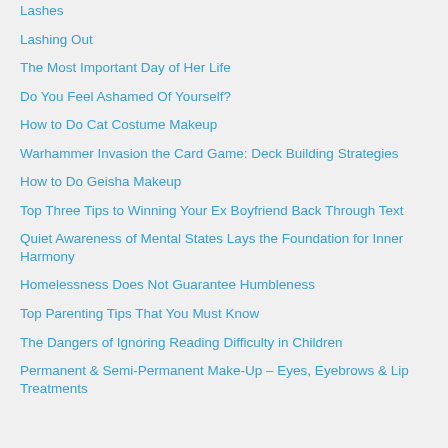Lashes
Lashing Out
The Most Important Day of Her Life
Do You Feel Ashamed Of Yourself?
How to Do Cat Costume Makeup
Warhammer Invasion the Card Game: Deck Building Strategies
How to Do Geisha Makeup
Top Three Tips to Winning Your Ex Boyfriend Back Through Text
Quiet Awareness of Mental States Lays the Foundation for Inner Harmony
Homelessness Does Not Guarantee Humbleness
Top Parenting Tips That You Must Know
The Dangers of Ignoring Reading Difficulty in Children
Permanent & Semi-Permanent Make-Up – Eyes, Eyebrows & Lip Treatments